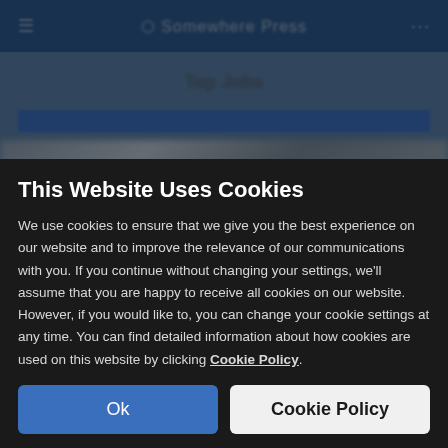[Figure (screenshot): Blurred website background showing a blue navigation bar at top and a partially visible webpage with blue UI elements and imagery]
This Website Uses Cookies
We use cookies to ensure that we give you the best experience on our website and to improve the relevance of our communications with you. If you continue without changing your settings, we'll assume that you are happy to receive all cookies on our website. However, if you would like to, you can change your cookie settings at any time. You can find detailed information about how cookies are used on this website by clicking Cookie Policy.
Ok
Cookie Policy